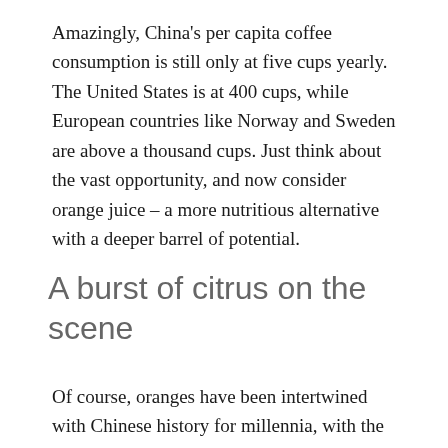Amazingly, China's per capita coffee consumption is still only at five cups yearly. The United States is at 400 cups, while European countries like Norway and Sweden are above a thousand cups. Just think about the vast opportunity, and now consider orange juice – a more nutritious alternative with a deeper barrel of potential.
A burst of citrus on the scene
Of course, oranges have been intertwined with Chinese history for millennia, with the earliest mention of